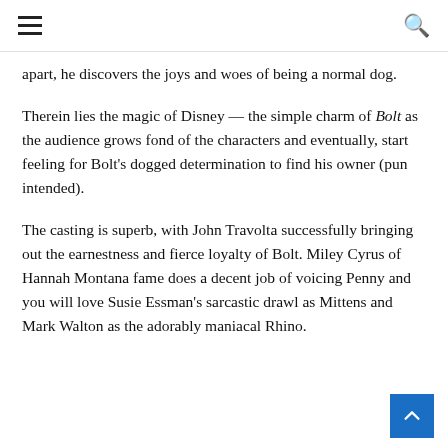≡  🔍
apart, he discovers the joys and woes of being a normal dog.
Therein lies the magic of Disney — the simple charm of Bolt as the audience grows fond of the characters and eventually, start feeling for Bolt's dogged determination to find his owner (pun intended).
The casting is superb, with John Travolta successfully bringing out the earnestness and fierce loyalty of Bolt. Miley Cyrus of Hannah Montana fame does a decent job of voicing Penny and you will love Susie Essman's sarcastic drawl as Mittens and Mark Walton as the adorably maniacal Rhino.